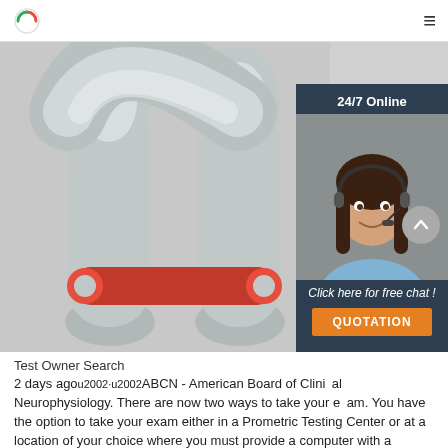Logo | Hamburger menu
[Figure (photo): Close-up photo of a metal shackle with a red pin/bolt, galvanized steel construction. Watermark text 'WWW.YOYARIGGING' overlaid. A 24/7 online chat widget overlay on the right side with a customer service representative photo, 'Click here for free chat!' text, and an orange QUOTATION button.]
Test Owner Search
2 days agou2002·u2002ABCN - American Board of Clinical Neurophysiology. There are now two ways to take your exam. You have the option to take your exam either in a Prometric Testing Center or at a location of your choice where you must provide a computer with a camera, microphone and an inte ...